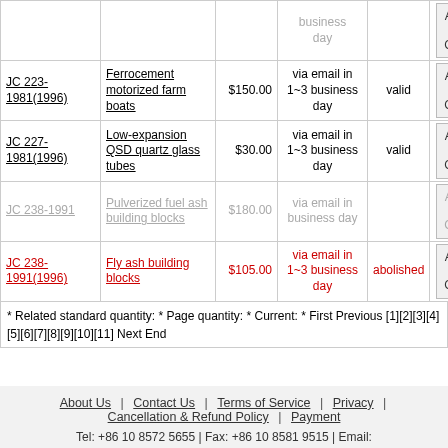| Standard No. | Title | Price | Delivery | Status |  |
| --- | --- | --- | --- | --- | --- |
|  |  |  | business day |  | Add to Cart |
| JC 223-1981(1996) | Ferrocement motorized farm boats | $150.00 | via email in 1~3 business day | valid | Add to Cart |
| JC 227-1981(1996) | Low-expansion QSD quartz glass tubes | $30.00 | via email in 1~3 business day | valid | Add to Cart |
| JC 238-1991 | Pulverized fuel ash building blocks | $180.00 | via email in business day |  | Add to Cart |
| JC 238-1991(1996) | Fly ash building blocks | $105.00 | via email in 1~3 business day | abolished | Add to Cart |
* Related standard quantity: * Page quantity: * Current: * First Previous [1][2][3][4][5][6][7][8][9][10][11] Next End
About Us | Contact Us | Terms of Service | Privacy | Cancellation & Refund Policy | Payment
Tel: +86 10 8572 5655 | Fax: +86 10 8581 9515 | Email: